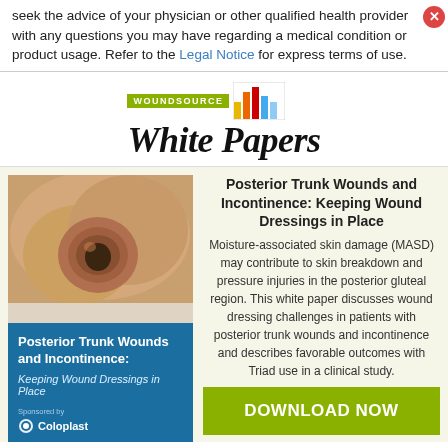seek the advice of your physician or other qualified health provider with any questions you may have regarding a medical condition or product usage. Refer to the Legal Notice for express terms of use.
[Figure (logo): WoundSource White Papers logo with bar chart graphic]
[Figure (photo): Wound image on a patient, close-up of a posterior trunk wound]
Posterior Trunk Wounds and Incontinence: Keeping Wound Dressings in Place
Keeping Wound Dressings in Place
Posterior Trunk Wounds and Incontinence: Keeping Wound Dressings in Place
Moisture-associated skin damage (MASD) may contribute to skin breakdown and pressure injuries in the posterior gluteal region. This white paper discusses wound dressing challenges in patients with posterior trunk wounds and incontinence and describes favorable outcomes with Triad use in a clinical study.
DOWNLOAD NOW